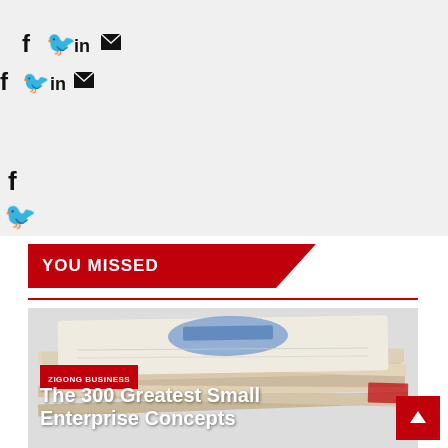[Figure (infographic): Social media sharing icons row 1: Facebook (f), Twitter bird, LinkedIn (in), Email envelope - displayed inline horizontally]
[Figure (infographic): Social media sharing icons row 2: Facebook (f), Twitter bird, LinkedIn (in), Email envelope - displayed inline horizontally, slightly larger]
[Figure (infographic): Social media sharing icons vertical stack: Facebook (f), Twitter bird, LinkedIn (in), Email envelope - displayed vertically on left side]
YOU MISSED
[Figure (photo): Stack of folded newspapers viewed from the side, showing multiple layers of newsprint. Top newspaper has blue text/graphic visible.]
ZIGONG BUSINESS
The 300 Greatest Small Enterprise Concepts